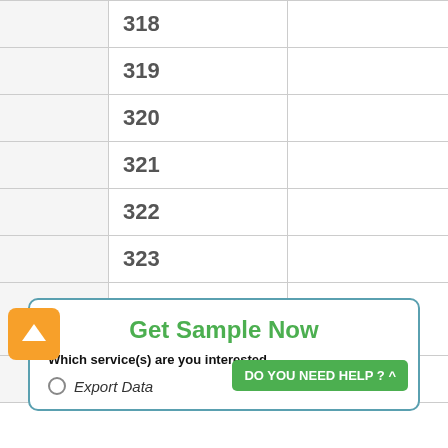|  | Col1 | Col2 | Col3 | Col4 |
| --- | --- | --- | --- | --- |
|  | 318 | 318 | 92059090 | Others |
|  | 319 | 319 | 92060000 | Percus... |
|  | 320 | 320 | 94051010 | Hangn... |
|  | 321 | 321 | 94055010 | Hurric... |
|  | 322 | 322 | 97050090 | Others |
|  | 323 | 323 | 70051010 | Tinted |
|  | 324 | 324 | 70051090 | Other - |
|  | 325 | 325 | 70071100 | Temper... |
Get Sample Now
Which service(s) are you interested
DO YOU NEED HELP ? ^
Export Data